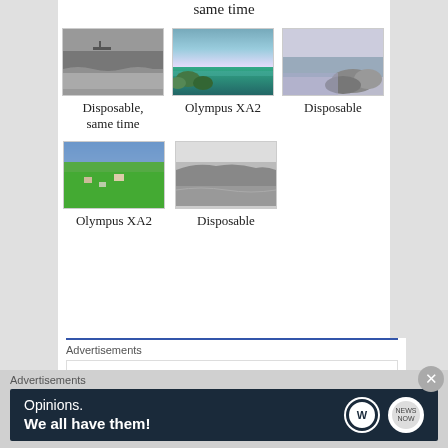same time
[Figure (photo): Black and white photo of ocean waves with a ship in the distance]
[Figure (photo): Color photo of ocean at sunset with green shrubs in the foreground]
[Figure (photo): Black and white photo of rocky coastline]
Disposable, same time
Olympus XA2
Disposable
[Figure (photo): Color aerial photo of a coastal town with trees and ocean]
[Figure (photo): Black and white aerial photo of a coastline]
Olympus XA2
Disposable
Advertisements
ThePlatform Where WordPress Works Best
Pressable
REPORT THIS AD
Advertisements
Opinions. We all have them!